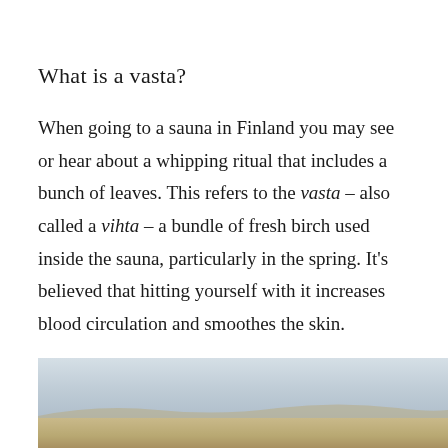What is a vasta?
When going to a sauna in Finland you may see or hear about a whipping ritual that includes a bunch of leaves. This refers to the vasta – also called a vihta – a bundle of fresh birch used inside the sauna, particularly in the spring. It's believed that hitting yourself with it increases blood circulation and smoothes the skin.
[Figure (photo): Landscape photo showing a wide open sky with muted grey-blue tones and a low horizon with earthen/sandy ground in the foreground, partially cropped at the bottom of the page.]